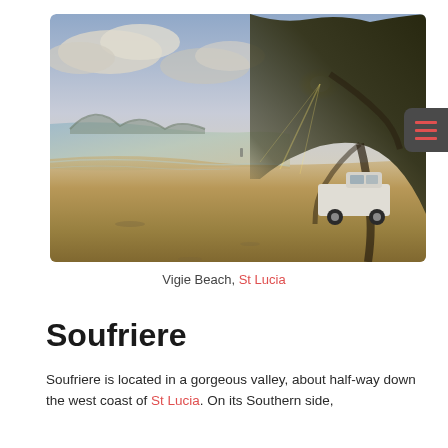[Figure (photo): Beach scene at sunset/dusk showing sandy shore, calm water, hills in background, large trees on right side, and a white pickup truck parked under the trees. Vigie Beach, St Lucia.]
Vigie Beach, St Lucia
Soufriere
Soufriere is located in a gorgeous valley, about half-way down the west coast of St Lucia. On its Southern side,